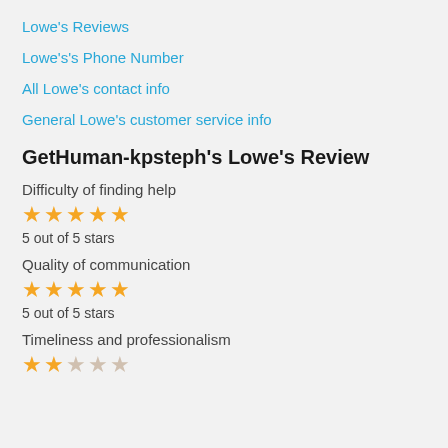Lowe's Reviews
Lowe's's Phone Number
All Lowe's contact info
General Lowe's customer service info
GetHuman-kpsteph's Lowe's Review
Difficulty of finding help
[Figure (other): 5 filled stars rating]
5 out of 5 stars
Quality of communication
[Figure (other): 5 filled stars rating]
5 out of 5 stars
Timeliness and professionalism
[Figure (other): 2 filled stars and 3 empty stars rating]
2 out of 5 stars (partially visible)